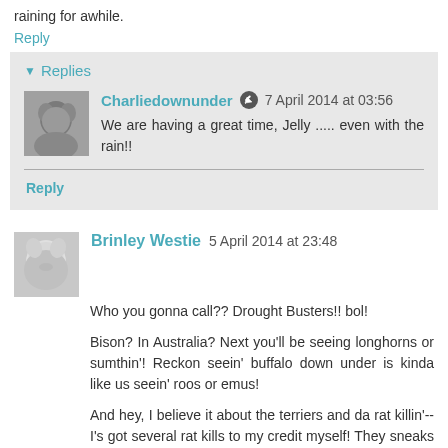raining for awhile.
Reply
Replies
Charliedownunder  7 April 2014 at 03:56
We are having a great time, Jelly ..... even with the rain!!
Reply
Brinley Westie  5 April 2014 at 23:48
Who you gonna call?? Drought Busters!! bol!

Bison? In Australia? Next you'll be seeing longhorns or sumthin'! Reckon seein' buffalo down under is kinda like us seein' roos or emus!

And hey, I believe it about the terriers and da rat killin'-- I's got several rat kills to my credit myself! They sneaks into da